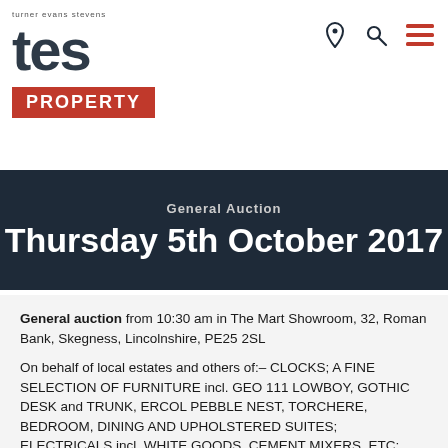[Figure (logo): TES Property logo - turner evans stevens, with red PROPERTY bar below]
General Auction
Thursday 5th October 2017
General auction from 10:30 am in The Mart Showroom, 32, Roman Bank, Skegness, Lincolnshire, PE25 2SL
On behalf of local estates and others of:- CLOCKS; A FINE SELECTION OF FURNITURE incl. GEO 111 LOWBOY, GOTHIC DESK and TRUNK, ERCOL PEBBLE NEST, TORCHERE, BEDROOM, DINING AND UPHOLSTERED SUITES; ELECTRICALS incl. WHITE GOODS, CEMENT MIXERS, ETC; PICTURES and PRINTS incl. ANTIQUE SHIPWRECK OIL ON TIN; MIRRORS; CHINA and GLASS incl. ROYAL CROWN DERBY, MOORCROFT, BESWICK, MEISSEN, TUPTON; 22ct, 18ct and 9ct GOLD RINGS; SILVER JEWELLERY and FLATWARE; COSTUME JEWELLERY; WATCHES incl. STORM DIGIMEC; DIE CAST and TOYS; MOBILITY SCOOTERS; CYCLES; ELECTRIC and ACCOUSTIC GUITARS; COLLECTABLES incl. STONE TROUGH and other GARDEN